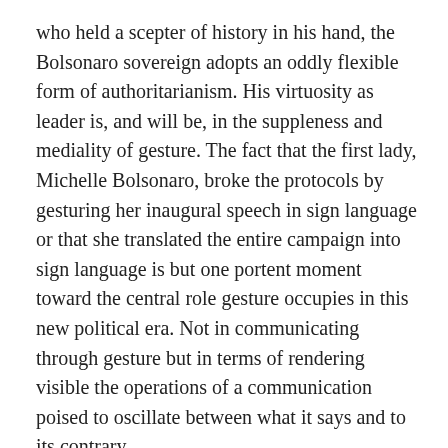who held a scepter of history in his hand, the Bolsonaro sovereign adopts an oddly flexible form of authoritarianism. His virtuosity as leader is, and will be, in the suppleness and mediality of gesture. The fact that the first lady, Michelle Bolsonaro, broke the protocols by gesturing her inaugural speech in sign language or that she translated the entire campaign into sign language is but one portent moment toward the central role gesture occupies in this new political era. Not in communicating through gesture but in terms of rendering visible the operations of a communication poised to oscillate between what it says and to its contrary.
A form of tyrant flexibility becomes subservient to, and a condition for, the play of contraries, what Schmitt (writing on Catholicism's political form in the